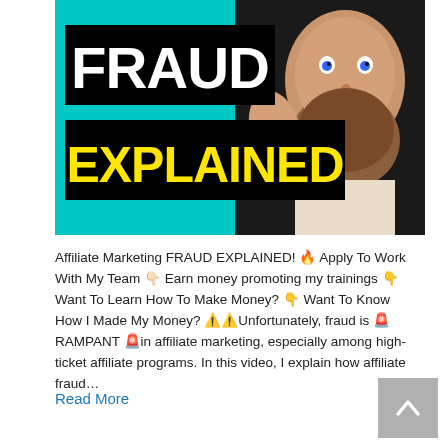[Figure (screenshot): Thumbnail image showing a bearded man with blue eyes on a dark background, with text 'FRAUD EXPLAINED' — 'FRAUD' in white bold letters on black background, 'EXPLAINED' in yellow bold letters on black background, teal/cyan gradient on the left side.]
Affiliate Marketing FRAUD EXPLAINED! 🔥 Apply To Work With My Team 👇🏻 Earn money promoting my trainings 👇 Want To Learn How To Make Money? 👇 Want To Know How I Made My Money? ⚠️⚠️Unfortunately, fraud is 🚨RAMPANT 🚨in affiliate marketing, especially among high-ticket affiliate programs. In this video, I explain how affiliate fraud…
Read More